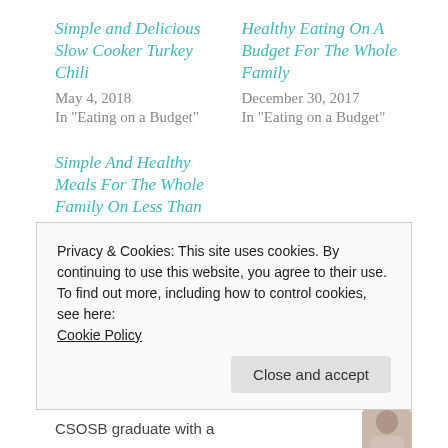Simple and Delicious Slow Cooker Turkey Chili
May 4, 2018
In "Eating on a Budget"
Healthy Eating On A Budget For The Whole Family
December 30, 2017
In "Eating on a Budget"
Simple And Healthy Meals For The Whole Family On Less Than $100 A Week
April 12, 2018
In "Eating on a Budget"
Privacy & Cookies: This site uses cookies. By continuing to use this website, you agree to their use.
To find out more, including how to control cookies, see here:
Cookie Policy
Close and accept
CSOSB graduate with a